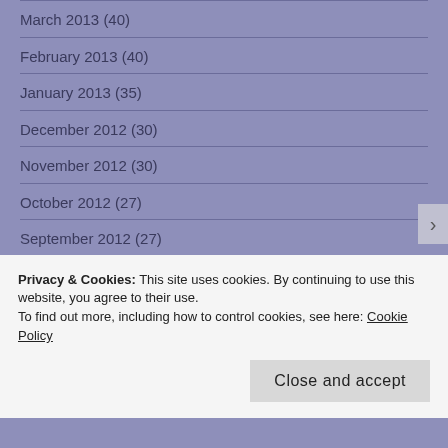March 2013 (40)
February 2013 (40)
January 2013 (35)
December 2012 (30)
November 2012 (30)
October 2012 (27)
September 2012 (27)
August 2012 (36)
Privacy & Cookies: This site uses cookies. By continuing to use this website, you agree to their use.
To find out more, including how to control cookies, see here: Cookie Policy
Close and accept